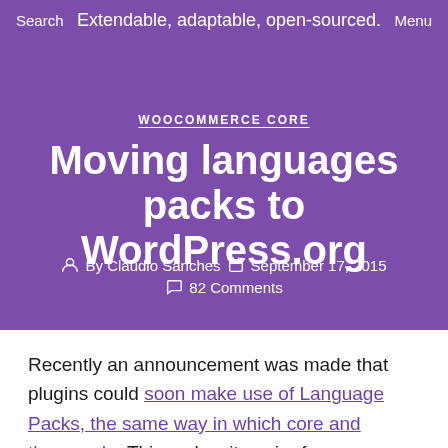Search   Extendable, adaptable, open-sourced.   Menu
WOOCOMMERCE CORE
Moving languages packs to WordPress.org
By Claudio Sanches   September 17, 2015   82 Comments
Recently an announcement was made that plugins could soon make use of Language Packs, the same way in which core and themes do. This makes it easier for users